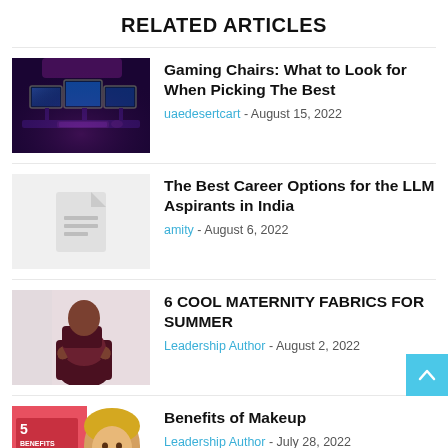RELATED ARTICLES
Gaming Chairs: What to Look for When Picking The Best — uaedesertcart - August 15, 2022
The Best Career Options for the LLM Aspirants in India — amity - August 6, 2022
6 COOL MATERNITY FABRICS FOR SUMMER — Leadership Author - August 2, 2022
Benefits of Makeup — Leadership Author - July 28, 2022